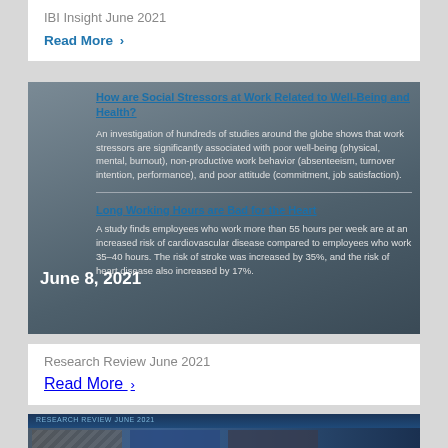IBI Insight June 2021
Read More >
[Figure (screenshot): Dark blue-grey card showing two article previews: 'How are Social Stressors at Work Related to Well-Being and Health?' and 'Long Working Hours are Bad for the Heart', with a 'June 8, 2021' date overlay]
Research Review June 2021
Read More >
[Figure (photo): Partial image visible at bottom showing dark blue/tech themed imagery with arrows and computer equipment, presumably a publication cover]